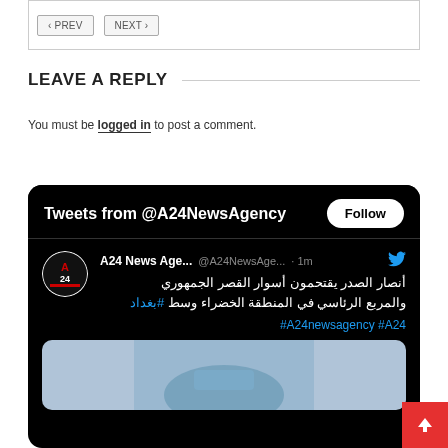< PREV   NEXT >
LEAVE A REPLY
You must be logged in to post a comment.
[Figure (screenshot): Twitter/X embed widget showing tweets from @A24NewsAgency with a tweet in Arabic about Sadr supporters storming the Republican Palace and the presidential square in the Green Zone in Baghdad. Hashtags: #A24newsagency #A24. Includes Follow button, A24 logo avatar, Twitter bird icon, and a partial image preview.]